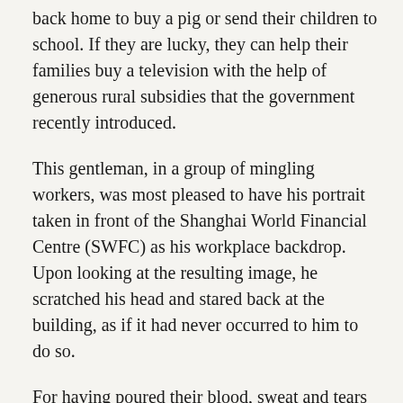back home to buy a pig or send their children to school. If they are lucky, they can help their families buy a television with the help of generous rural subsidies that the government recently introduced.
This gentleman, in a group of mingling workers, was most pleased to have his portrait taken in front of the Shanghai World Financial Centre (SWFC) as his workplace backdrop. Upon looking at the resulting image, he scratched his head and stared back at the building, as if it had never occurred to him to do so.
For having poured their blood, sweat and tears into building Shanghai's skyline for minimum wage, they ultimately have no ownership or belonging in that part of China's dream.
October 2009